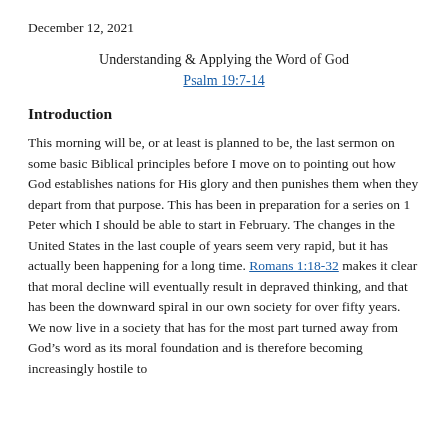December 12, 2021
Understanding & Applying the Word of God
Psalm 19:7-14
Introduction
This morning will be, or at least is planned to be, the last sermon on some basic Biblical principles before I move on to pointing out how God establishes nations for His glory and then punishes them when they depart from that purpose. This has been in preparation for a series on 1 Peter which I should be able to start in February. The changes in the United States in the last couple of years seem very rapid, but it has actually been happening for a long time. Romans 1:18-32 makes it clear that moral decline will eventually result in depraved thinking, and that has been the downward spiral in our own society for over fifty years. We now live in a society that has for the most part turned away from God’s word as its moral foundation and is therefore becoming increasingly hostile to